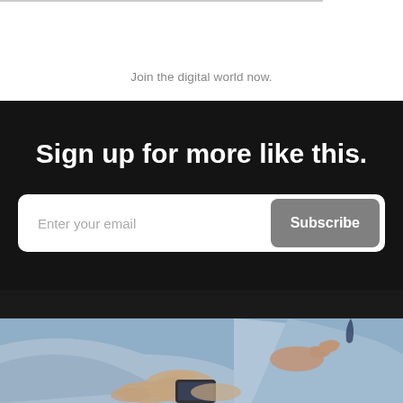Join the digital world now.
Sign up for more like this.
Enter your email  Subscribe
[Figure (photo): Two people in business attire looking at and pointing to a smartphone, close-up of hands]